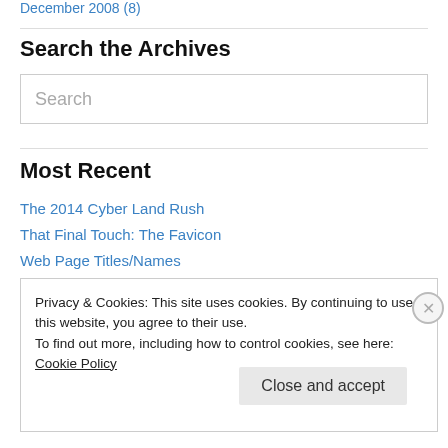December 2008 (8)
Search the Archives
Search
Most Recent
The 2014 Cyber Land Rush
That Final Touch: The Favicon
Web Page Titles/Names
Privacy & Cookies: This site uses cookies. By continuing to use this website, you agree to their use. To find out more, including how to control cookies, see here: Cookie Policy
Close and accept